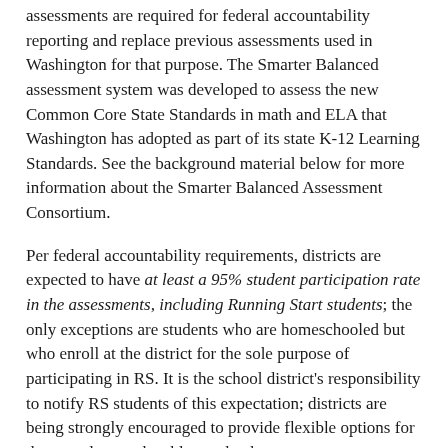assessments are required for federal accountability reporting and replace previous assessments used in Washington for that purpose. The Smarter Balanced assessment system was developed to assess the new Common Core State Standards in math and ELA that Washington has adopted as part of its state K-12 Learning Standards. See the background material below for more information about the Smarter Balanced Assessment Consortium.
Per federal accountability requirements, districts are expected to have at least a 95% student participation rate in the assessments, including Running Start students; the only exceptions are students who are homeschooled but who enroll at the district for the sole purpose of participating in RS. It is the school district's responsibility to notify RS students of this expectation; districts are being strongly encouraged to provide flexible options for these students to be able to take the assessments.
Colleges are encouraged to let schools in their service area know that if students do have a conflict with a college class it